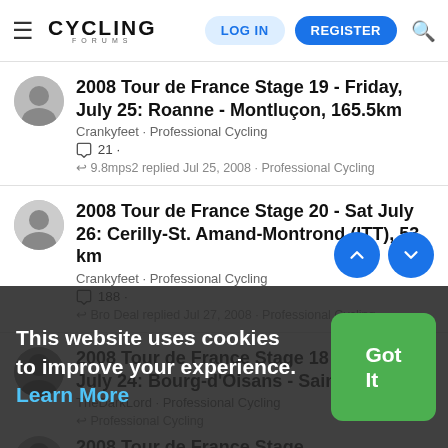Cycling Forums - LOG IN / REGISTER
2008 Tour de France Stage 19 - Friday, July 25: Roanne - Montluçon, 165.5km
Crankyfeet · Professional Cycling
21 · 9.8mps2 replied Jul 25, 2008 · Professional Cycling
2008 Tour de France Stage 20 - Sat July 26: Cerilly-St. Amand-Montrond (ITT), 53 km
Crankyfeet · Professional Cycling
188 · Bro Deal replied Jul 27, 2008 · Professional Cycling
2008 Tour de France Stage 18 - Thursday, July 24: Bourg-d'Oisans - Saint-Étienne
TheDarkLord · Professional Cycling
This website uses cookies to improve your experience. Learn More Got It